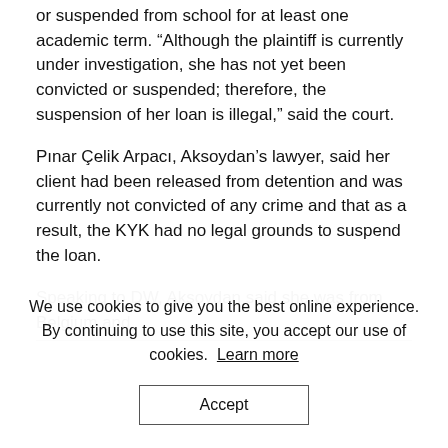or suspended from school for at least one academic term. “Although the plaintiff is currently under investigation, she has not yet been convicted or suspended; therefore, the suspension of her loan is illegal,” said the court.
Pınar Çelik Arpacı, Aksoydan’s lawyer, said her client had been released from detention and was currently not convicted of any crime and that as a result, the KYK had no legal grounds to suspend the loan.
Speaking to DW, Aksoydan said she was from Belgium and
We use cookies to give you the best online experience. By continuing to use this site, you accept our use of cookies. Learn more
Accept